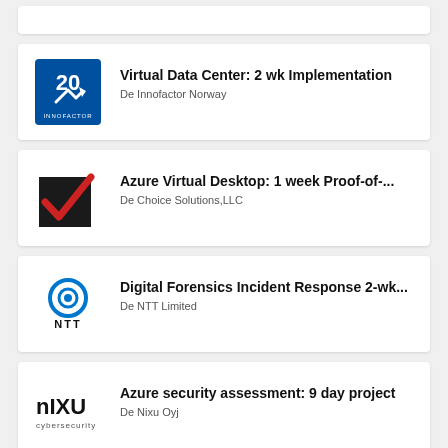[Figure (other): Partial card visible at top of page]
Virtual Data Center: 2 wk Implementation
De Innofactor Norway
Azure Virtual Desktop: 1 week Proof-of-...
De Choice Solutions,LLC
Digital Forensics Incident Response 2-wk...
De NTT Limited
Azure security assessment: 9 day project
De Nixu Oyj